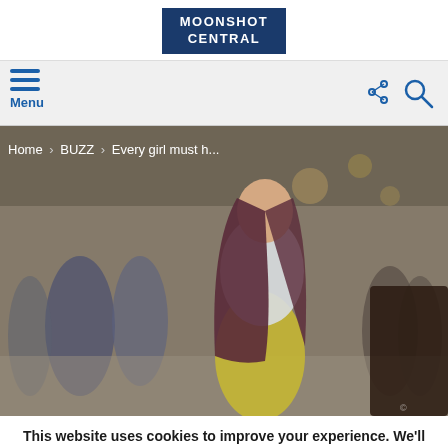MOONSHOT CENTRAL
[Figure (screenshot): Navigation bar with hamburger menu icon and Menu label on left, share and search icons on right, on a light gray background]
Home › BUZZ › Every girl must h...
[Figure (photo): A woman with long dark hair wearing a metallic skirt and graphic t-shirt posing outdoors in a busy urban street scene]
This website uses cookies to improve your experience. We'll assume you're ok with this, but you can opt-out if you wish.
Cookie settings
ACCEPT